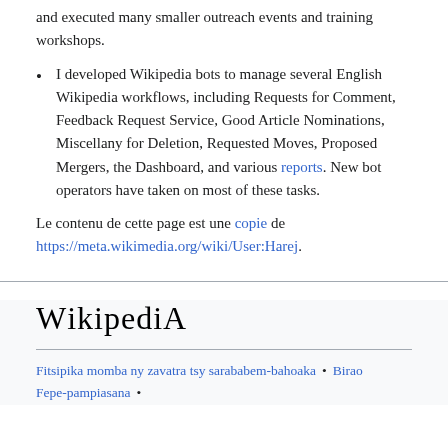and executed many smaller outreach events and training workshops.
I developed Wikipedia bots to manage several English Wikipedia workflows, including Requests for Comment, Feedback Request Service, Good Article Nominations, Miscellany for Deletion, Requested Moves, Proposed Mergers, the Dashboard, and various reports. New bot operators have taken on most of these tasks.
Le contenu de cette page est une copie de https://meta.wikimedia.org/wiki/User:Harej.
Wikipedia
Fitsipika momba ny zavatra tsy sarababem-bahoaka • Birao Fepe-pampiasana •